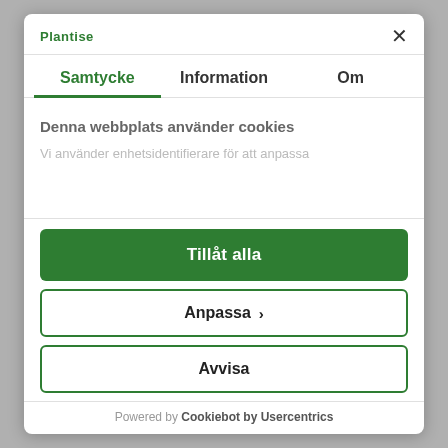[Figure (screenshot): Plantise logo in green text in the top left of the modal header]
×
Samtycke
Information
Om
Denna webbplats använder cookies
Vi använder enhetsidentifierare för att anpassa
Tillåt alla
Anpassa ›
Avvisa
Powered by Cookiebot by Usercentrics